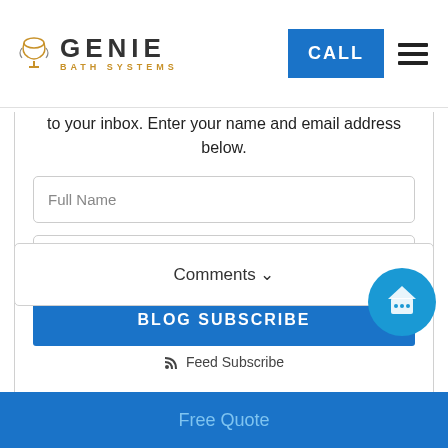[Figure (logo): Genie Bath Systems logo with lamp icon, GENIE text in gray and BATH SYSTEMS in gold]
[Figure (other): Blue CALL button and hamburger menu icon in header]
to your inbox. Enter your name and email address below.
Full Name
Email Address
BLOG SUBSCRIBE
Feed Subscribe
Comments ∨
[Figure (other): Blue circular chat bubble icon with house and speech bubble symbol]
Free Quote